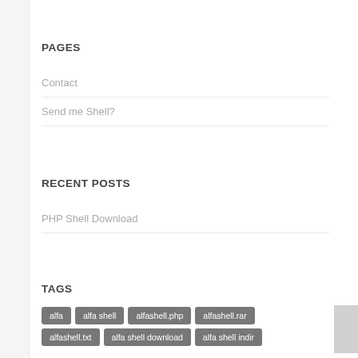PAGES
Contact
Send me Shell?
RECENT POSTS
PHP Shell Download
TAGS
alfa
alfa shell
alfashell.php
alfashell.rar
alfashell.txt
alfa shell download
alfa shell indir